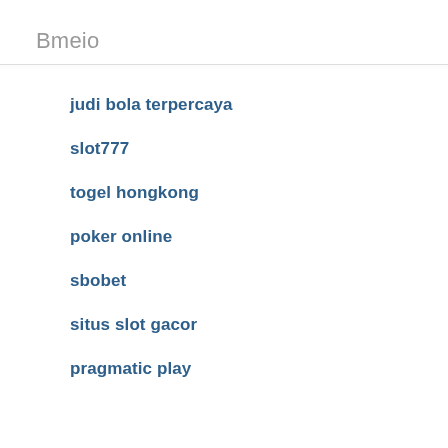Bmeio
judi bola terpercaya
slot777
togel hongkong
poker online
sbobet
situs slot gacor
pragmatic play